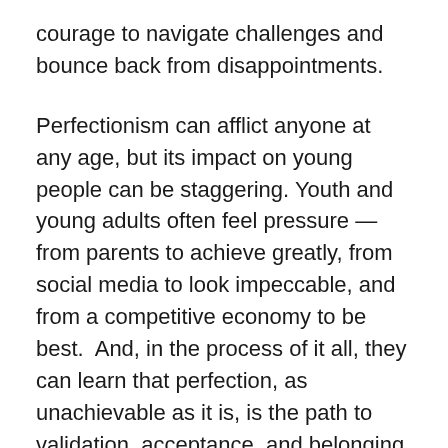courage to navigate challenges and bounce back from disappointments.
Perfectionism can afflict anyone at any age, but its impact on young people can be staggering. Youth and young adults often feel pressure — from parents to achieve greatly, from social media to look impeccable, and from a competitive economy to be best.  And, in the process of it all, they can learn that perfection, as unachievable as it is, is the path to validation, acceptance, and belonging. An important part of courage is having a worthy purpose to pursue, but the pursuit gets complicated for perfectionists when their inability to be perfect